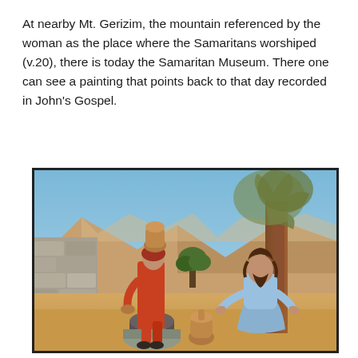At nearby Mt. Gerizim, the mountain referenced by the woman as the place where the Samaritans worshiped (v.20), there is today the Samaritan Museum. There one can see a painting that points back to that day recorded in John's Gospel.
[Figure (illustration): A painting depicting the biblical scene of the woman at the well. A woman in an orange/red dress carries a large clay jar on her head and holds another vessel near a stone well. A bearded man in light blue robes (Jesus) sits to the right under a large tree. The background shows rocky mountains, desert landscape, and a small green tree.]